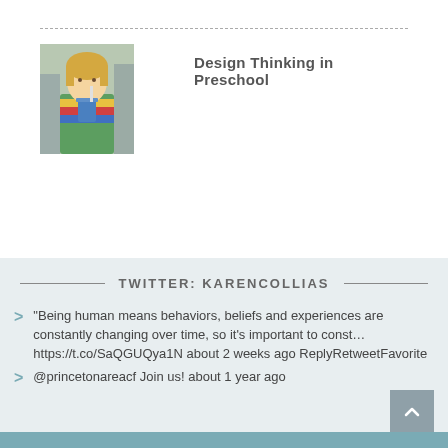[Figure (photo): Photo of a young child with blonde hair drinking from a cup, wearing a colorful shirt]
Design Thinking in Preschool
TWITTER: KARENCOLLIAS
"Being human means behaviors, beliefs and experiences are constantly changing over time, so it's important to const… https://t.co/SaQGUQya1N about 2 weeks ago ReplyRetweetFavorite
@princetonareacf Join us! about 1 year ago